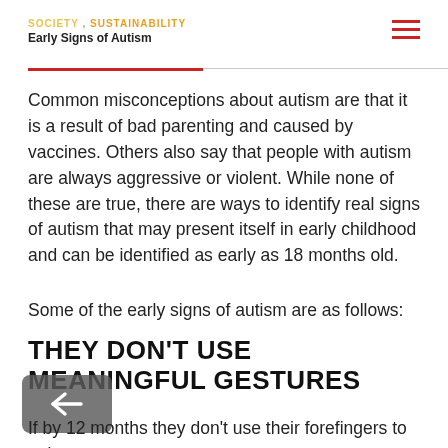SOCIETY , SUSTAINABILITY
Early Signs of Autism
Common misconceptions about autism are that it is a result of bad parenting and caused by vaccines. Others also say that people with autism are always aggressive or violent. While none of these are true, there are ways to identify real signs of autism that may present itself in early childhood and can be identified as early as 18 months old.
Some of the early signs of autism are as follows:
THEY DON'T USE MEANINGFUL GESTURES
If by 12 months they don't use their forefingers to point